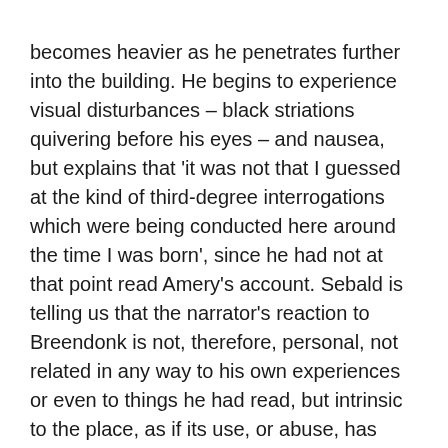becomes heavier as he penetrates further into the building. He begins to experience visual disturbances – black striations quivering before his eyes – and nausea, but explains that 'it was not that I guessed at the kind of third-degree interrogations which were being conducted here around the time I was born', since he had not at that point read Amery's account. Sebald is telling us that the narrator's reaction to Breendonk is not, therefore, personal, not related in any way to his own experiences or even to things he had read, but intrinsic to the place, as if its use, or abuse, has changed its very nature, violence become part of its fabric.
Breendonk is the first of the trio of Holocaust sites around which the text is structured. It's built to a star shape, a six-pointed star. This was a favoured design both for fortresses and, since it has been adopted for prison architecture...